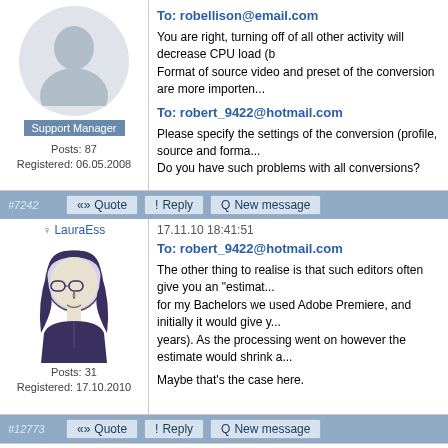[Figure (illustration): Generic avatar silhouette of a person with grey background circle]
Support Manager
Posts: 87
Registered: 06.05.2008
To: robellison@email.com
You are right, turning off of all other activity will decrease CPU load (b... Format of source video and preset of the conversion are more importen...
To: robert_9422@hotmail.com
Please specify the settings of the conversion (profile, source and forma... Do you have such problems with all conversions?
#7242
Quote  Reply  New message
LauraEss
17.11.10 18:41:51
[Figure (illustration): Sketch illustration of a woman with glasses and long dark hair]
Posts: 31
Registered: 17.10.2010
To: robert_9422@hotmail.com
The other thing to realise is that such editors often give you an "estimat... for my Bachelors we used Adobe Premiere, and initially it would give y... years). As the processing went on however the estimate would shrink a...

Maybe that's the case here.
#12773
Quote  Reply  New message
All the forums » Share Experience » AVS Customers Need to shout Louder\How AVS4YOU software